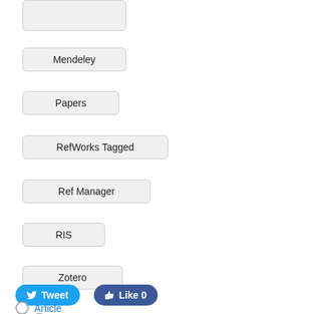Mendeley
Papers
RefWorks Tagged
Ref Manager
RIS
Zotero
[Figure (other): Tweet and Like social sharing buttons]
Article
Abstract